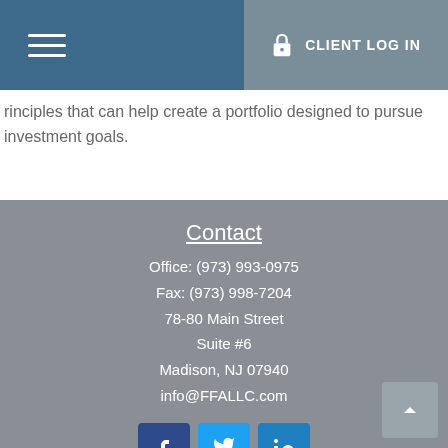CLIENT LOG IN
rinciples that can help create a portfolio designed to pursue investment goals.
Contact
Office: (973) 993-0975
Fax: (973) 998-7204
78-80 Main Street
Suite #6
Madison, NJ 07940
info@FFALLC.com
[Figure (infographic): Social media icons row: Facebook, Twitter, LinkedIn]
Quick Links
Retirement
Investment